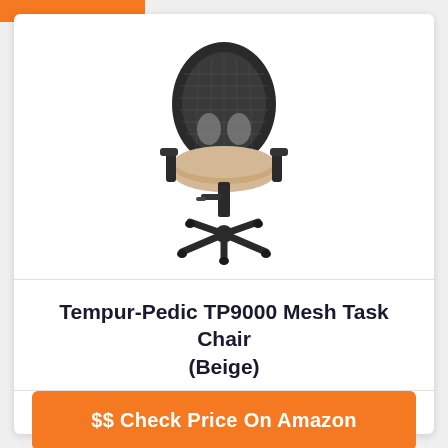[Figure (photo): Product photo of a Tempur-Pedic TP9000 Mesh Task Chair with black mesh back, beige padded seat, adjustable armrests, and five-star black base with casters]
Tempur-Pedic TP9000 Mesh Task Chair (Beige)
$$ Check Price On Amazon